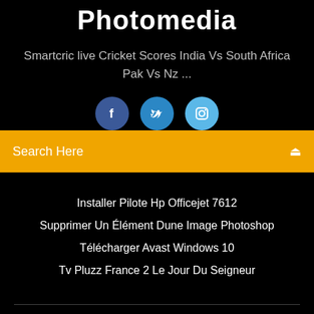Photomedia
Smartcric live Cricket Scores India Vs South Africa Pak Vs Nz ...
[Figure (illustration): Three social media icons: Facebook (dark blue circle with 'f'), Twitter (medium blue circle with bird icon), Instagram (light blue circle with camera icon)]
Search Here
Installer Pilote Hp Officejet 7612
Supprimer Un Élément Dune Image Photoshop
Télécharger Avast Windows 10
Tv Pluzz France 2 Le Jour Du Seigneur
Copyright ©2022 All rights reserved